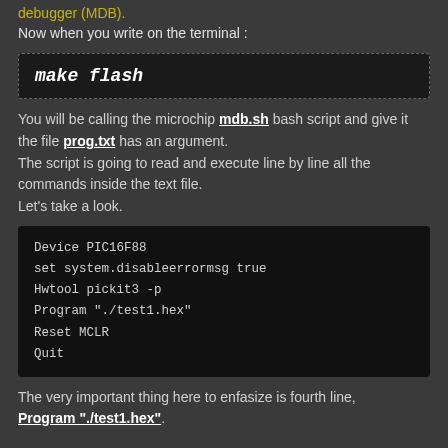debugger (MDB).
Now when you write on the terminal :
[Figure (screenshot): Code box with command: make flash]
You will be calling the microchip mdb.sh bash script and give it the file prog.txt has an argument.
The script is going to read and execute line by line all the commands inside the text file.
Let's take a look.
[Figure (screenshot): Code block with MDB script commands: Device PIC16F88, set system.disableerrormsg true, Hwtool pickit3 -p, Program "./test1.hex", Reset MCLR, Quit]
The very important thing here to enfasize is fourth line, Program "./test1.hex".